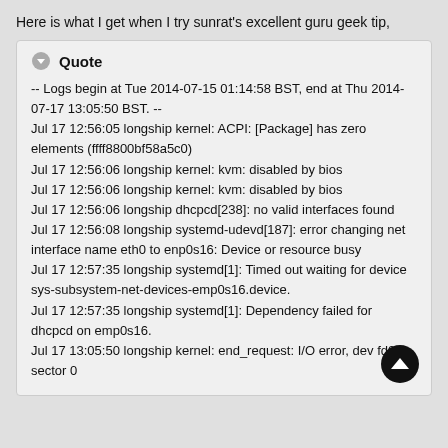Here is what I get when I try sunrat's excellent guru geek tip,
Quote
-- Logs begin at Tue 2014-07-15 01:14:58 BST, end at Thu 2014-07-17 13:05:50 BST. --
Jul 17 12:56:05 longship kernel: ACPI: [Package] has zero elements (ffff8800bf58a5c0)
Jul 17 12:56:06 longship kernel: kvm: disabled by bios
Jul 17 12:56:06 longship kernel: kvm: disabled by bios
Jul 17 12:56:06 longship dhcpcd[238]: no valid interfaces found
Jul 17 12:56:08 longship systemd-udevd[187]: error changing net interface name eth0 to enp0s16: Device or resource busy
Jul 17 12:57:35 longship systemd[1]: Timed out waiting for device sys-subsystem-net-devices-emp0s16.device.
Jul 17 12:57:35 longship systemd[1]: Dependency failed for dhcpcd on emp0s16.
Jul 17 13:05:50 longship kernel: end_request: I/O error, dev fd0, sector 0